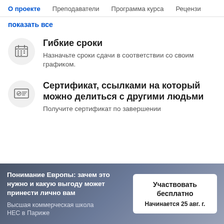О проекте  Преподаватели  Программа курса  Рецензи
показать все
Гибкие сроки
Назначьте сроки сдачи в соответствии со своим графиком.
Сертификат, ссылками на который можно делиться с другими людьми
Получите сертификат по завершении
Понимание Европы: зачем это нужно и какую выгоду может принести лично вам
Высшая коммерческая школа НЕС в Париже
Участвовать бесплатно
Начинается 25 авг. г.